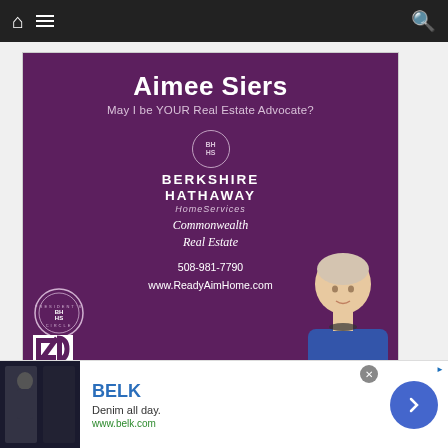Navigation bar with home icon, menu icon, search icon
[Figure (illustration): Real estate agent advertisement for Aimee Siers, Berkshire Hathaway HomeServices Commonwealth Real Estate. Purple background with agent photo. Phone: 508-981-7790, www.ReadyAimHome.com. Includes President's Circle badge and Realtor R logo.]
[Figure (screenshot): Bottom banner advertisement for BELK. Text: BELK, Denim all day., www.belk.com. Dark image of person in denim on left, blue circular arrow button on right.]